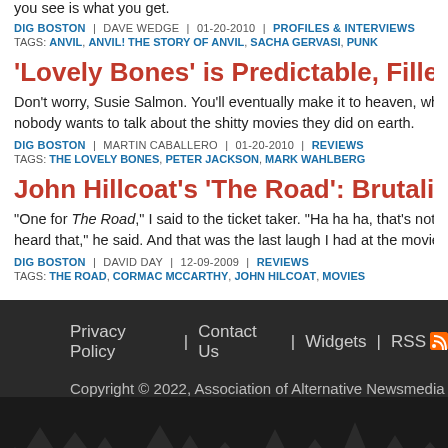you see is what you get.
DIG BOSTON | DAVE WEDGE | 01-20-2010 | PROFILES & INTERVIEWS
TAGS: ANVIL, ANVIL! THE STORY OF ANVIL, SACHA GERVASI, PUNK
'Lovely Bones' is Predictable, Filled with Cheap Emotional
Don't worry, Susie Salmon. You'll eventually make it to heaven, where, luckily nobody wants to talk about the shitty movies they did on earth.
DIG BOSTON | MARTIN CABALLERO | 01-20-2010 | REVIEWS
TAGS: THE LOVELY BONES, PETER JACKSON, MARK WAHLBERG
John Hillcoat's 'The Road': Brutalism on Celluloid
"One for The Road," I said to the ticket taker. "Ha ha ha, that's not the first I heard that," he said. And that was the last laugh I had at the movies that da
DIG BOSTON | DAVID DAY | 12-09-2009 | REVIEWS
TAGS: THE ROAD, CORMAC MCCARTHY, JOHN HILCOAT, MOVIES
Privacy Policy | Contact Us | Widgets | RSS
Copyright © 2022, Association of Alternative Newsmedia | Powered by Gyr